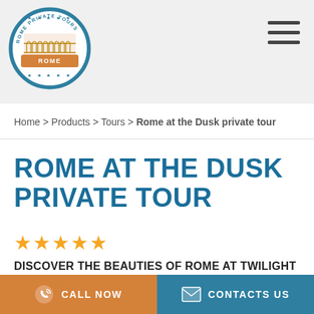[Figure (logo): Circular logo badge with Colosseum illustration, text ROME PRIVATE TOURS around the border, orange banner with ROME text, blue and white color scheme]
Home > Products > Tours > Rome at the Dusk private tour
ROME AT THE DUSK PRIVATE TOUR
★★★★★
DISCOVER THE BEAUTIES OF ROME AT TWILIGHT
CALL NOW
CONTACTS US